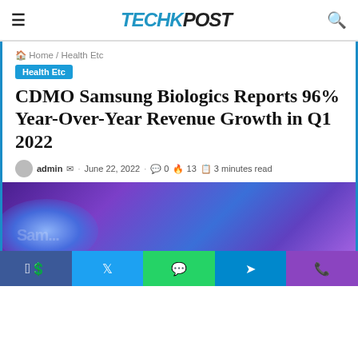TECHKPOST
Home / Health Etc
Health Etc
CDMO Samsung Biologics Reports 96% Year-Over-Year Revenue Growth in Q1 2022
admin · June 22, 2022 · 0 · 13 · 3 minutes read
[Figure (photo): Purple and blue blurred background photo with Samsung Biologics logo partially visible]
Social sharing buttons: Facebook, Twitter, WhatsApp, Telegram, Phone